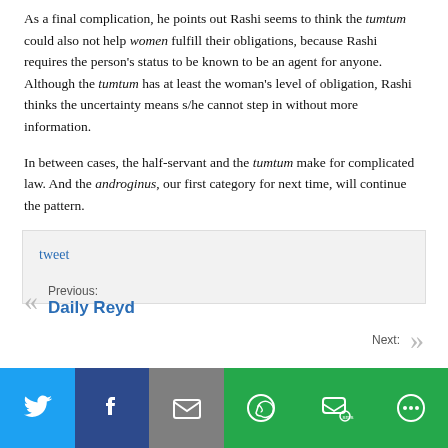As a final complication, he points out Rashi seems to think the tumtum could also not help women fulfill their obligations, because Rashi requires the person's status to be known to be an agent for anyone. Although the tumtum has at least the woman's level of obligation, Rashi thinks the uncertainty means s/he cannot step in without more information.
In between cases, the half-servant and the tumtum make for complicated law. And the androginus, our first category for next time, will continue the pattern.
tweet
Previous: Daily Reyd
Next:
[Figure (infographic): Social sharing bar with Twitter, Facebook, Email, WhatsApp, SMS, and More buttons]